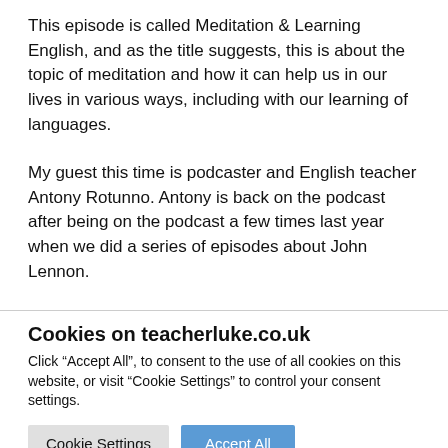This episode is called Meditation & Learning English, and as the title suggests, this is about the topic of meditation and how it can help us in our lives in various ways, including with our learning of languages.
My guest this time is podcaster and English teacher Antony Rotunno. Antony is back on the podcast after being on the podcast a few times last year when we did a series of episodes about John Lennon.
Antony has a few podcasts of his own and you might remember
Cookies on teacherluke.co.uk
Click “Accept All”, to consent to the use of all cookies on this website, or visit “Cookie Settings” to control your consent settings.
Cookie Settings | Accept All